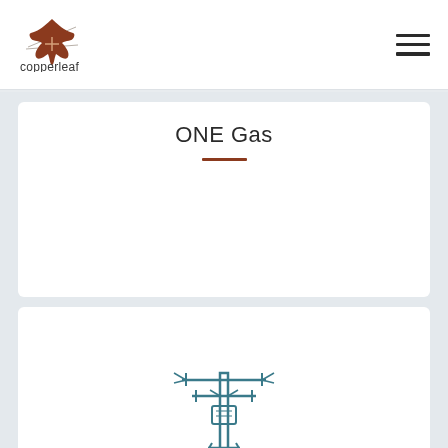[Figure (logo): Copperleaf logo — stylized maple leaf in brown/rust color with crossed lines, and the text 'copperleaf' below]
[Figure (other): Hamburger menu icon — three horizontal black lines]
ONE Gas
[Figure (illustration): Utility pole / electric transmission tower icon in teal/dark cyan outline style]